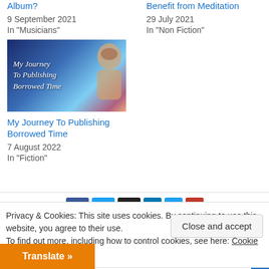Album?
9 September 2021
In "Musicians"
Benefit from Meditation
29 July 2021
In "Non Fiction"
[Figure (photo): Book/album cover thumbnail with text 'My Journey To Publishing Borrowed Time' overlaid on a blue cosmic background with a person's face]
My Journey To Publishing Borrowed Time
7 August 2022
In "Fiction"
Privacy & Cookies: This site uses cookies. By continuing to use this website, you agree to their use.
To find out more, including how to control cookies, see here: Cookie Policy
Close and accept
Translate »
eurs Need to
– Stay On